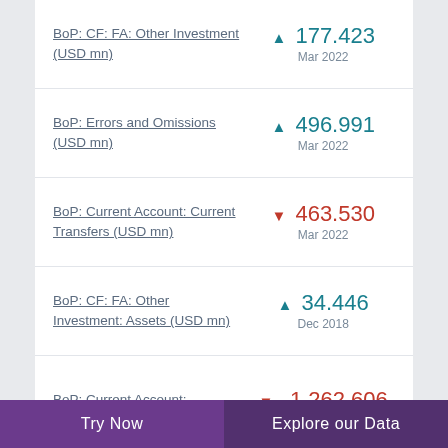BoP: CF: FA: Other Investment (USD mn) ▲ 177.423 Mar 2022
BoP: Errors and Omissions (USD mn) ▲ 496.991 Mar 2022
BoP: Current Account: Current Transfers (USD mn) ▼ 463.530 Mar 2022
BoP: CF: FA: Other Investment: Assets (USD mn) ▲ 34.446 Dec 2018
BoP: Current Account: ▼ -1,262.606
Try Now | Explore our Data